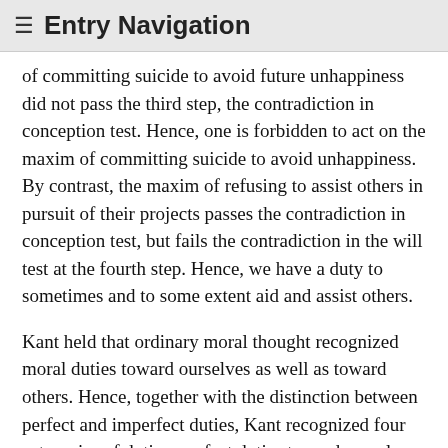≡ Entry Navigation
of committing suicide to avoid future unhappiness did not pass the third step, the contradiction in conception test. Hence, one is forbidden to act on the maxim of committing suicide to avoid unhappiness. By contrast, the maxim of refusing to assist others in pursuit of their projects passes the contradiction in conception test, but fails the contradiction in the will test at the fourth step. Hence, we have a duty to sometimes and to some extent aid and assist others.
Kant held that ordinary moral thought recognized moral duties toward ourselves as well as toward others. Hence, together with the distinction between perfect and imperfect duties, Kant recognized four categories of duties: perfect duties toward ourselves, perfect duties toward others, imperfect duties toward ourselves and imperfect duties toward others. Kant uses four examples in the Groundwork, one of each kind of duty, to demonstrate that every kind of duty can be derived from the CI, and hence to bolster his case that the CI is indeed the fundamental principle of morality. To refrain from